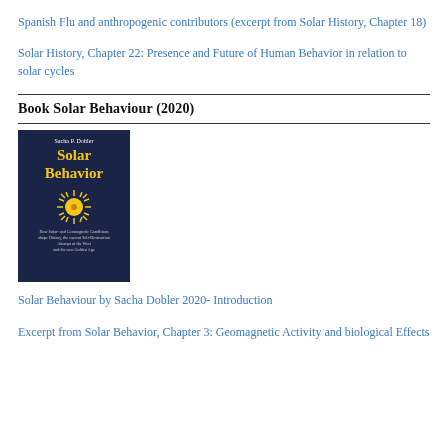Spanish Flu and anthropogenic contributors (excerpt from Solar History, Chapter 18)
Solar History, Chapter 22: Presence and Future of Human Behavior in relation to solar cycles
Book Solar Behaviour (2020)
[Figure (photo): Book cover of 'Solar Behavior' by Sacha P. Dobler, dark blue cover with yellow title text and a sun illustration]
Solar Behaviour by Sacha Dobler 2020- Introduction
Excerpt from Solar Behavior, Chapter 3: Geomagnetic Activity and biological Effects